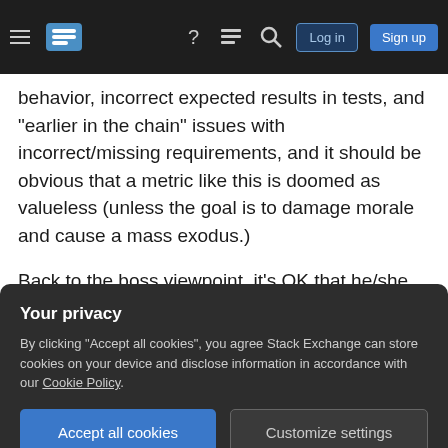Stack Exchange navigation bar with hamburger menu, logo, help, chat, search icons, Log in and Sign up buttons
behavior, incorrect expected results in tests, and "earlier in the chain" issues with incorrect/missing requirements, and it should be obvious that a metric like this is doomed as valueless (unless the goal is to damage morale and cause a mass exodus.)
Back to the boss viewpoint, it's OK that he/she wants to find out if there are developers who are breaking code repeatedly, and to try and do something (hopefully constructive) about that. Trying to get this information by adding a field to bug
Your privacy
By clicking "Accept all cookies", you agree Stack Exchange can store cookies on your device and disclose information in accordance with our Cookie Policy.
team members, and getting familiar with the